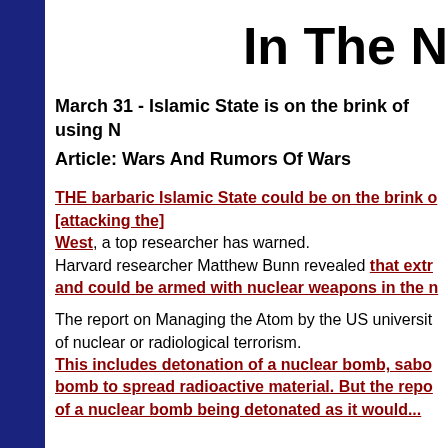In The N
March 31 - Islamic State is on the brink of using N
Article: Wars And Rumors Of Wars
THE barbaric Islamic State could be on the brink of [attacking the West], a top researcher has warned. Harvard researcher Matthew Bunn revealed that extr[emists] and could be armed with nuclear weapons in the [near future].
The report on Managing the Atom by the US universit[y warns] of nuclear or radiological terrorism. This includes detonation of a nuclear bomb, sabo[tage of a] bomb to spread radioactive material. But the repo[rt warns] of a nuclear bomb being detonated as it would...